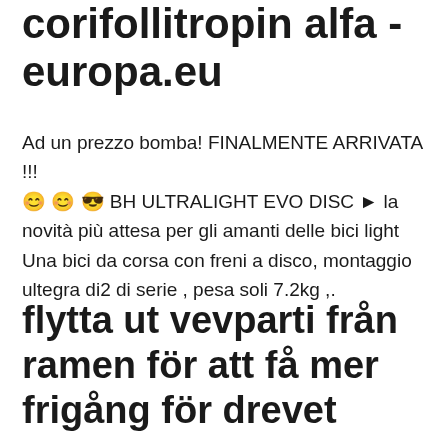corifollitropin alfa - europa.eu
Ad un prezzo bomba! FINALMENTE ARRIVATA !!! 😊 😊 😎 BH ULTRALIGHT EVO DISC ▶ la novità più attesa per gli amanti delle bici light Una bici da corsa con freni a disco, montaggio ultegra di2 di serie , pesa soli 7.2kg ,.
flytta ut vevparti från ramen för att få mer frigång för drevet